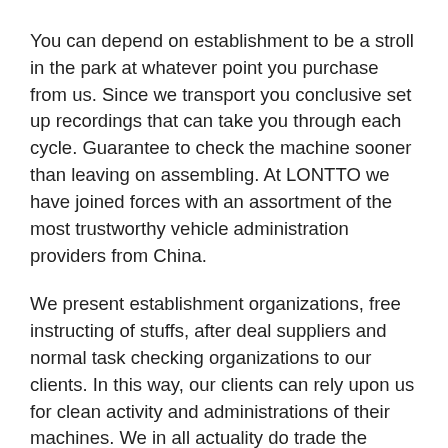You can depend on establishment to be a stroll in the park at whatever point you purchase from us. Since we transport you conclusive set up recordings that can take you through each cycle. Guarantee to check the machine sooner than leaving on assembling. At LONTTO we have joined forces with an assortment of the most trustworthy vehicle administration providers from China.
We present establishment organizations, free instructing of stuffs, after deal suppliers and normal task checking organizations to our clients. In this way, our clients can rely upon us for clean activity and administrations of their machines. We in all actuality do trade the default machine assuming any serious issue emerges. We have substantial post making machines, substantial line making machines, substantial blending plant, or cement grouping plant, substantial blender, stone smasher, pipe molds, shaft molds, etc. from China, Italy...